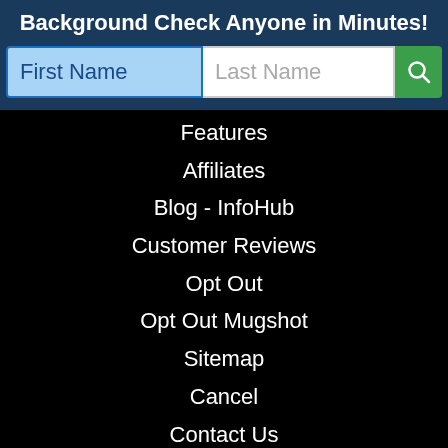Background Check Anyone in Minutes!
[Figure (screenshot): Search form with First Name input (light blue), Last Name input (white), and green search button with magnifying glass icon]
Features
Affiliates
Blog - InfoHub
Customer Reviews
Opt Out
Opt Out Mugshot
Sitemap
Cancel
Contact Us
CCPA
Scholarship
Directories